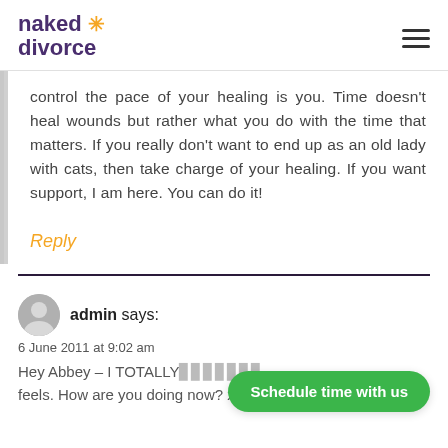naked divorce
control the pace of your healing is you. Time doesn't heal wounds but rather what you do with the time that matters. If you really don't want to end up as an old lady with cats, then take charge of your healing. If you want support, I am here. You can do it!
Reply
admin says:
6 June 2011 at 9:02 am
Hey Abbey – I TOTALLY feels. How are you doing now? xxAdele
Schedule time with us